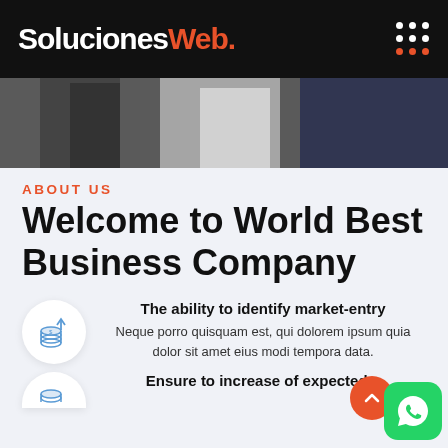SolucionesWeb
[Figure (photo): Hero image showing people in business attire, cropped at top]
ABOUT US
Welcome to World Best Business Company
The ability to identify market-entry
Neque porro quisquam est, qui dolorem ipsum quia dolor sit amet eius modi tempora data.
Ensure to increase of expected s…